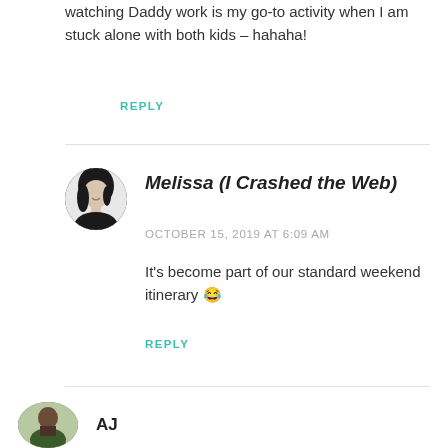watching Daddy work is my go-to activity when I am stuck alone with both kids – hahaha!
REPLY
Melissa (I Crashed the Web)
OCTOBER 15, 2019 AT 6:09 AM
It's become part of our standard weekend itinerary 😂
REPLY
AJ